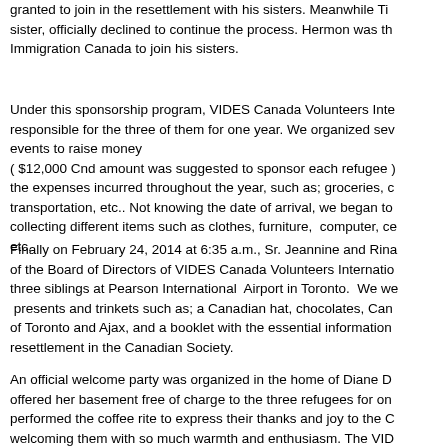granted to join in the resettlement with his sisters. Meanwhile Ti sister, officially declined to continue the process. Hermon was th Immigration Canada to join his sisters.
Under this sponsorship program, VIDES Canada Volunteers Inte responsible for the three of them for one year. We organized sev events to raise money ( $12,000 Cnd amount was suggested to sponsor each refugee ) the expenses incurred throughout the year, such as; groceries, c transportation, etc.. Not knowing the date of arrival, we began to collecting different items such as clothes, furniture, computer, ce etc.
Finally on February 24, 2014 at 6:35 a.m., Sr. Jeannine and Rina of the Board of Directors of VIDES Canada Volunteers Internatio three siblings at Pearson International Airport in Toronto. We we presents and trinkets such as; a Canadian hat, chocolates, Can of Toronto and Ajax, and a booklet with the essential information resettlement in the Canadian Society.
An official welcome party was organized in the home of Diane D offered her basement free of charge to the three refugees for on performed the coffee rite to express their thanks and joy to the C welcoming them with so much warmth and enthusiasm. The VID friends brought different Canadian dishes while the Eritreans off